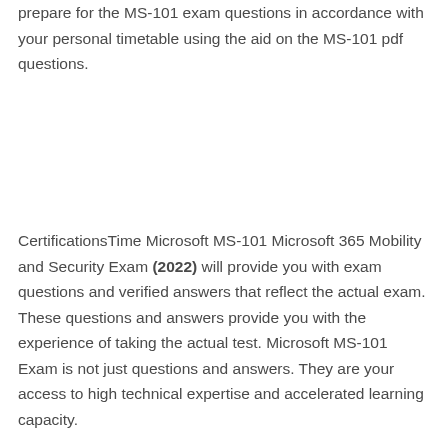prepare for the MS-101 exam questions in accordance with your personal timetable using the aid on the MS-101 pdf questions.
CertificationsTime Microsoft MS-101 Microsoft 365 Mobility and Security Exam (2022) will provide you with exam questions and verified answers that reflect the actual exam. These questions and answers provide you with the experience of taking the actual test. Microsoft MS-101 Exam is not just questions and answers. They are your access to high technical expertise and accelerated learning capacity.